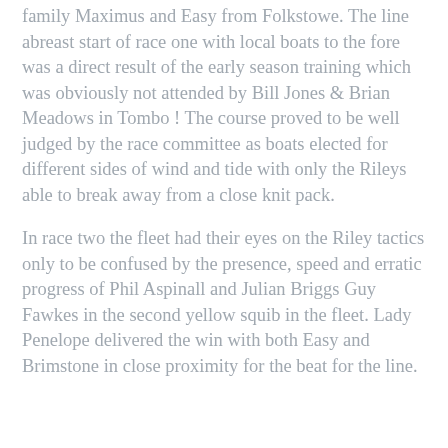family Maximus and Easy from Folkstowe. The line abreast start of race one with local boats to the fore was a direct result of the early season training which was obviously not attended by Bill Jones & Brian Meadows in Tombo ! The course proved to be well judged by the race committee as boats elected for different sides of wind and tide with only the Rileys able to break away from a close knit pack.
In race two the fleet had their eyes on the Riley tactics only to be confused by the presence, speed and erratic progress of Phil Aspinall and Julian Briggs Guy Fawkes in the second yellow squib in the fleet. Lady Penelope delivered the win with both Easy and Brimstone in close proximity for the beat for the line.